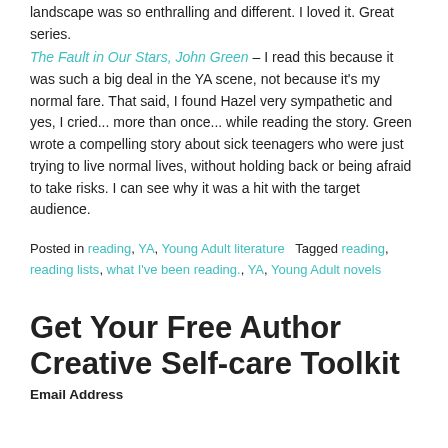landscape was so enthralling and different. I loved it. Great series.
The Fault in Our Stars, John Green – I read this because it was such a big deal in the YA scene, not because it's my normal fare. That said, I found Hazel very sympathetic and yes, I cried... more than once... while reading the story. Green wrote a compelling story about sick teenagers who were just trying to live normal lives, without holding back or being afraid to take risks. I can see why it was a hit with the target audience.
Posted in reading, YA, Young Adult literature   Tagged reading, reading lists, what I've been reading., YA, Young Adult novels
Get Your Free Author Creative Self-care Toolkit
Email Address